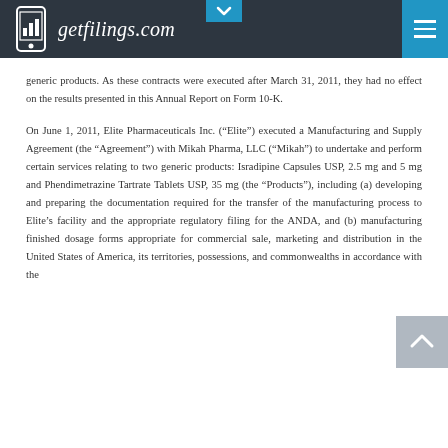getfilings.com
generic products. As these contracts were executed after March 31, 2011, they had no effect on the results presented in this Annual Report on Form 10-K.
On June 1, 2011, Elite Pharmaceuticals Inc. (“Elite”) executed a Manufacturing and Supply Agreement (the “Agreement”) with Mikah Pharma, LLC (“Mikah”) to undertake and perform certain services relating to two generic products: Isradipine Capsules USP, 2.5 mg and 5 mg and Phendimetrazine Tartrate Tablets USP, 35 mg (the “Products”), including (a) developing and preparing the documentation required for the transfer of the manufacturing process to Elite’s facility and the appropriate regulatory filing for the ANDA, and (b) manufacturing finished dosage forms appropriate for commercial sale, marketing and distribution in the United States of America, its territories, possessions, and commonwealths in accordance with the